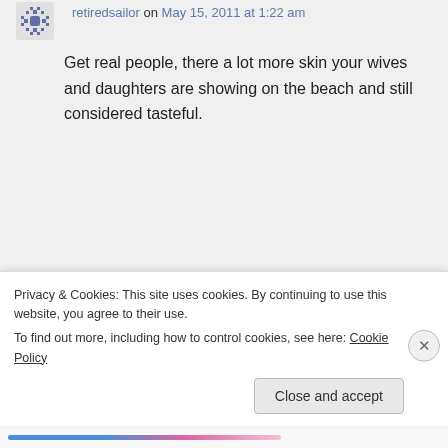retiredsailor on May 15, 2011 at 1:22 am
Get real people, there a lot more skin your wives and daughters are showing on the beach and still considered tasteful.
Tammy on May 15, 2011 at 1:44 am
She is a beautiful woman. The rise
Privacy & Cookies: This site uses cookies. By continuing to use this website, you agree to their use.
To find out more, including how to control cookies, see here: Cookie Policy
Close and accept